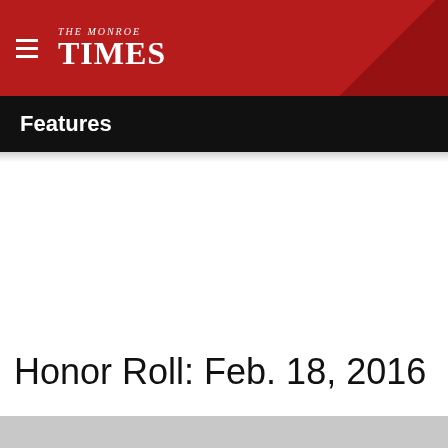The Monroe Times
Features
Honor Roll: Feb. 18, 2016
[Figure (photo): Gray placeholder image at the bottom of the page]